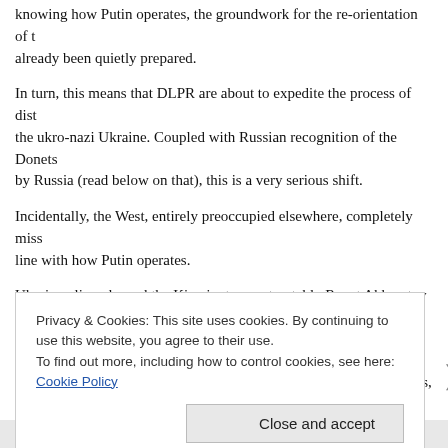knowing how Putin operates, the groundwork for the re-orientation of the already been quietly prepared.
In turn, this means that DLPR are about to expedite the process of dist the ukro-nazi Ukraine. Coupled with Russian recognition of the Donets by Russia (read below on that), this is a very serious shift.
Incidentally, the West, entirely preoccupied elsewhere, completely miss line with how Putin operates.
Ukraine oligarchs and the Kiev junta, most notably Renat Akhmetov (e owns half of Donbass, have been enjoying a free ride. While DPR and independent politically, the taxes from profits earned by the factories, p the break-away republics are still paid to Kiev.
The reason I pointed out that Akhmetov, once the richest man of Ukrai
Privacy & Cookies: This site uses cookies. By continuing to use this website, you agree to their use.
To find out more, including how to control cookies, see here: Cookie Policy
Close and accept